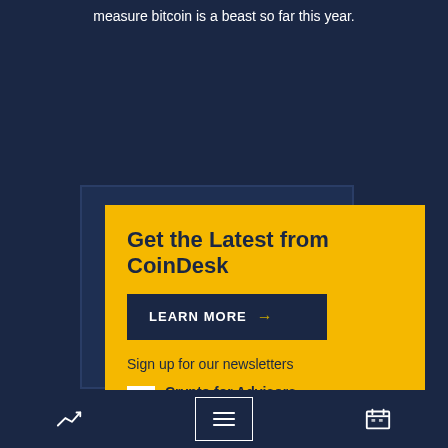measure bitcoin is a beast so far this year.
[Figure (infographic): CoinDesk newsletter signup card with yellow background. Contains 'Get the Latest from CoinDesk' heading, a 'LEARN MORE' button, 'Sign up for our newsletters' text, and newsletter entries for 'Crypto for Advisors' and 'Crypto Long & Short'.]
Sign up for our newsletters
Crypto for Advisors — Defining crypto, digital assets and the future of finance for financial advisors.
Crypto Long & Short
Bottom navigation bar with chart, menu, and calendar icons